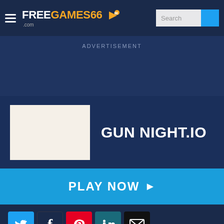[Figure (logo): FreeGames66.com logo with hamburger menu and search bar in dark navy header]
ADVERTISEMENT
GUN NIGHT.IO
PLAY NOW ▶
[Figure (infographic): Social sharing icons: Twitter, Facebook, Pinterest, LinkedIn, Email]
Related games 🔥